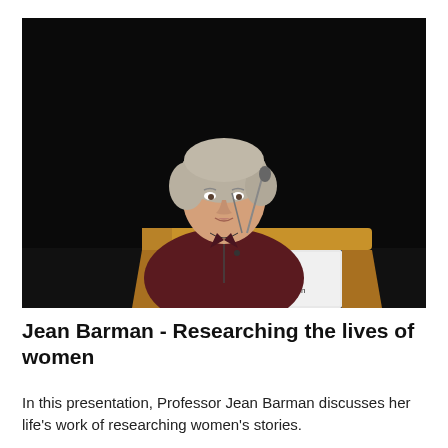[Figure (photo): A woman with short grey hair stands at a wooden lectern speaking into a microphone. The background is dark/black. A sign on the lectern reads 'BRC Foundation'. She is wearing a dark maroon zip-up top.]
Jean Barman - Researching the lives of women
In this presentation, Professor Jean Barman discusses her life's work of researching women's stories.